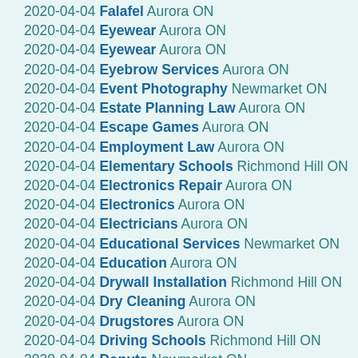2020-04-04 Falafel Aurora ON
2020-04-04 Eyewear Aurora ON
2020-04-04 Eyewear Aurora ON
2020-04-04 Eyebrow Services Aurora ON
2020-04-04 Event Photography Newmarket ON
2020-04-04 Estate Planning Law Aurora ON
2020-04-04 Escape Games Aurora ON
2020-04-04 Employment Law Aurora ON
2020-04-04 Elementary Schools Richmond Hill ON
2020-04-04 Electronics Repair Aurora ON
2020-04-04 Electronics Aurora ON
2020-04-04 Electricians Aurora ON
2020-04-04 Educational Services Newmarket ON
2020-04-04 Education Aurora ON
2020-04-04 Drywall Installation Richmond Hill ON
2020-04-04 Dry Cleaning Aurora ON
2020-04-04 Drugstores Aurora ON
2020-04-04 Driving Schools Richmond Hill ON
2020-04-04 Donuts Newmarket ON
2020-04-04 Dog Walkers Aurora ON
2020-04-04 Doctors Aurora ON
2020-04-04 Divorce Aurora ON